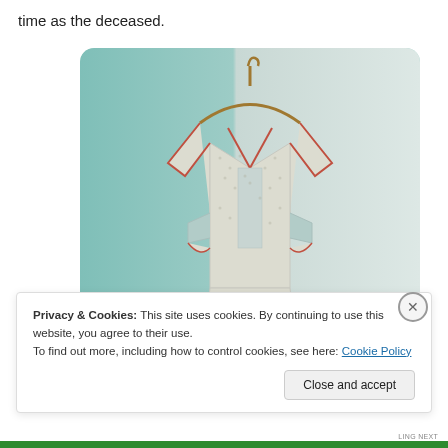time as the deceased.
[Figure (photo): A light-colored dress or apron with a v-neck and red trim, hanging on a wooden hanger against a teal/green wall background.]
Privacy & Cookies: This site uses cookies. By continuing to use this website, you agree to their use.
To find out more, including how to control cookies, see here: Cookie Policy
Close and accept